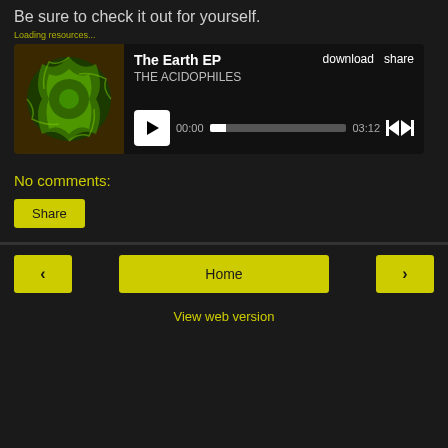Be sure to check it out for yourself.
[Figure (screenshot): Music player widget showing 'The Earth EP' by THE ACIDOPHILES with album art, play button, progress bar showing 00:00 to 03:12, download and share links]
No comments:
Share
< | Home | > | View web version